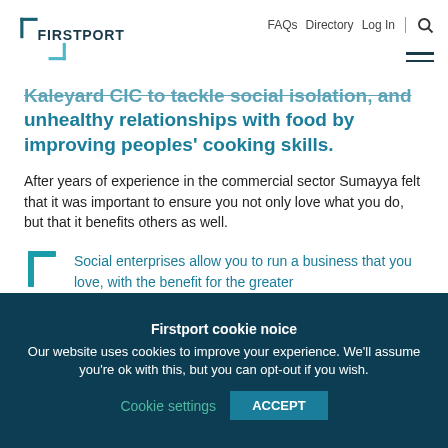FIRSTPORT | FAQs Directory Log In [search icon] [hamburger menu]
Kaleyard CIC to tackle social isolation, and unhealthy relationships with food by improving peoples' cooking skills.
After years of experience in the commercial sector Sumayya felt that it was important to ensure you not only love what you do, but that it benefits others as well.
Social enterprises allow you to run a business that you love, with the benefit for the greater
Firstport cookie noice
Our website uses cookies to improve your experience. We'll assume you're ok with this, but you can opt-out if you wish.
Cookie settings | ACCEPT